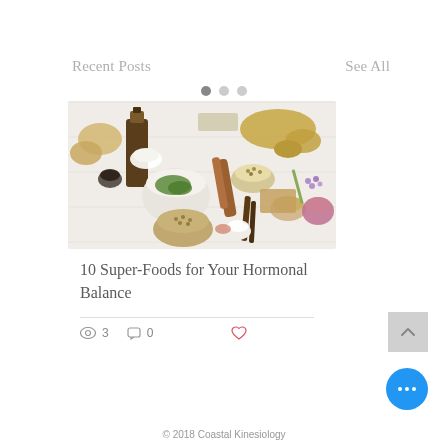Recent Posts
See All
[Figure (photo): Overhead flat-lay photo of various herbs, spices, seeds, oils, and natural ingredients on a white wooden surface, including a dark glass bottle, mortar and pestle with green herbs, ginger root, cinnamon sticks, seeds in bowls, lavender flowers, and an onion.]
10 Super-Foods for Your Hormonal Balance
3 views  0 comments  like
© 2018 Coastal Kinesiology